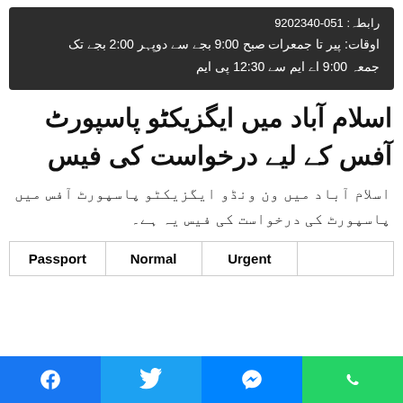رابطہ: 051-9202340
اوقات: پیر تا جمعرات صبح 9:00 بجے سے دوپہر 2:00 بجے تک
جمعہ 9:00 اے ایم سے 12:30 پی ایم
اسلام آباد میں ایگزیکٹو پاسپورٹ آفس کے لیے درخواست کی فیس
اسلام آباد میں ون ونڈو ایگزیکٹو پاسپورٹ آفس میں پاسپورٹ کی درخواست کی فیس یہ ہے۔
| Passport | Normal | Urgent |  |
| --- | --- | --- | --- |